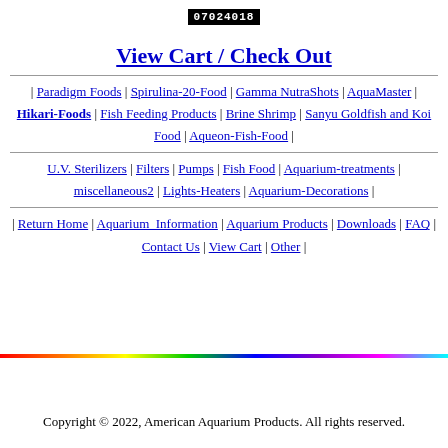07024018
View Cart / Check Out
| Paradigm Foods | Spirulina-20-Food | Gamma NutraShots | AquaMaster | Hikari-Foods | Fish Feeding Products | Brine Shrimp | Sanyu Goldfish and Koi Food | Aqueon-Fish-Food |
U.V. Sterilizers | Filters | Pumps | Fish Food | Aquarium-treatments | miscellaneous2 | Lights-Heaters | Aquarium-Decorations |
| Return Home | Aquarium_Information | Aquarium Products | Downloads | FAQ | Contact Us | View Cart | Other |
Copyright © 2022, American Aquarium Products. All rights reserved.